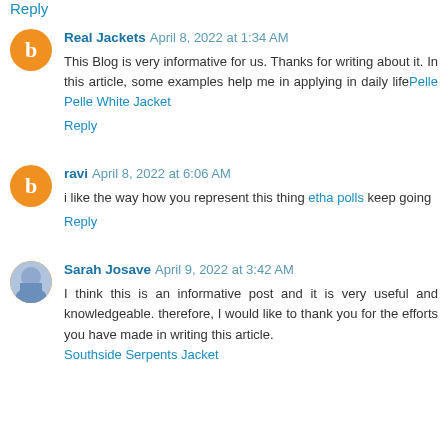Reply
Real Jackets  April 8, 2022 at 1:34 AM
This Blog is very informative for us. Thanks for writing about it. In this article, some examples help me in applying in daily lifePelle Pelle White Jacket
Reply
ravi  April 8, 2022 at 6:06 AM
i like the way how you represent this thing etha polls keep going
Reply
Sarah Josave  April 9, 2022 at 3:42 AM
I think this is an informative post and it is very useful and knowledgeable. therefore, I would like to thank you for the efforts you have made in writing this article.
Southside Serpents Jacket